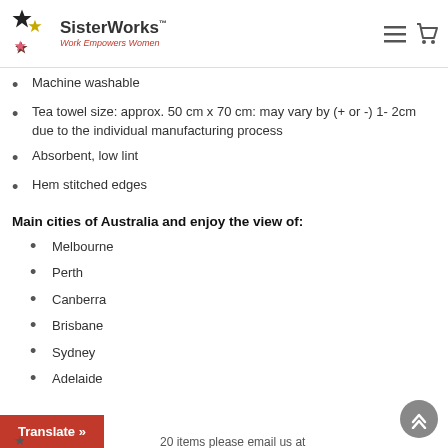SisterWorks – Work Empowers Women
Machine washable
Tea towel size: approx. 50 cm x 70 cm: may vary by (+ or -) 1- 2cm due to the individual manufacturing process
Absorbent, low lint
Hem stitched edges
Main cities of Australia and enjoy the view of:
Melbourne
Perth
Canberra
Brisbane
Sydney
Adelaide
20 items please email us at